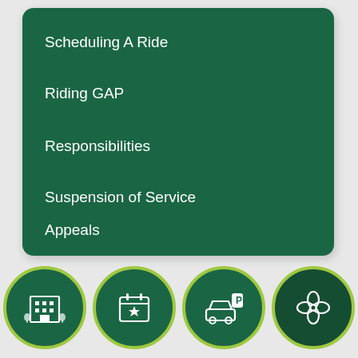Scheduling A Ride
Riding GAP
Responsibilities
Suspension of Service
Appeals
[Figure (infographic): Four circular icon buttons in a row at the bottom: a building/office icon, a calendar star icon, a car with parking icon, and a flower/leaf icon. Each circle has a dark green background with a bright green border.]